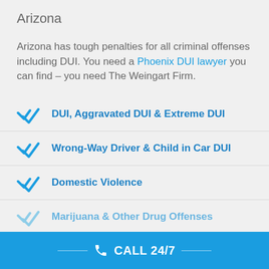Arizona
Arizona has tough penalties for all criminal offenses including DUI. You need a Phoenix DUI lawyer you can find – you need The Weingart Firm.
DUI, Aggravated DUI & Extreme DUI
Wrong-Way Driver & Child in Car DUI
Domestic Violence
Marijuana & Other Drug Offenses
Violent Crimes
CALL 24/7